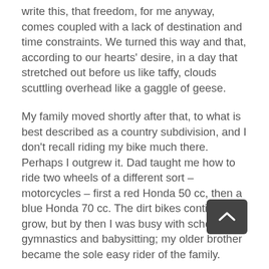write this, that freedom, for me anyway, comes coupled with a lack of destination and time constraints. We turned this way and that, according to our hearts' desire, in a day that stretched out before us like taffy, clouds scuttling overhead like a gaggle of geese.
My family moved shortly after that, to what is best described as a country subdivision, and I don't recall riding my bike much there. Perhaps I outgrew it. Dad taught me how to ride two wheels of a different sort – motorcycles – first a red Honda 50 cc, then a blue Honda 70 cc. The dirt bikes continued to grow, but by then I was busy with school, gymnastics and babysitting; my older brother became the sole easy rider of the family.
Those motorcycle riding skills came in handy, though, after I was first married, living in the country and without a functional vehicle. It was summer. I dressed appropriately, hopped on my husband Hugh's Honda 750 cc Super Sport, kicked it over, and cruised carefully on quiet country roads for 15 minutes to the family business, where I was working. After I drove his bike all